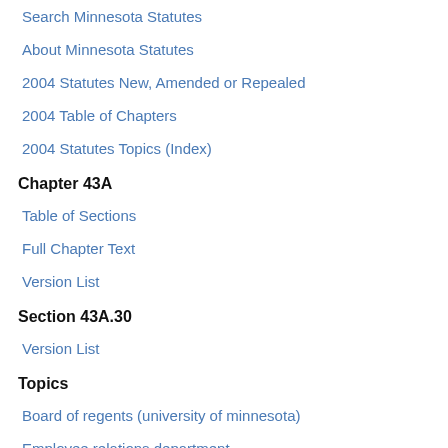Search Minnesota Statutes
About Minnesota Statutes
2004 Statutes New, Amended or Repealed
2004 Table of Chapters
2004 Statutes Topics (Index)
Chapter 43A
Table of Sections
Full Chapter Text
Version List
Section 43A.30
Version List
Topics
Board of regents (university of minnesota)
Employee relations department
Finance department